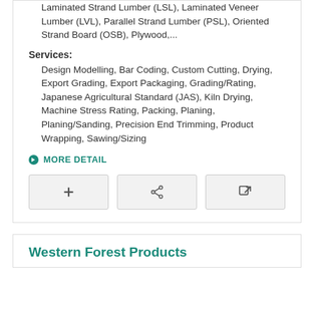Laminated Strand Lumber (LSL), Laminated Veneer Lumber (LVL), Parallel Strand Lumber (PSL), Oriented Strand Board (OSB), Plywood,...
Services:
Design Modelling, Bar Coding, Custom Cutting, Drying, Export Grading, Export Packaging, Grading/Rating, Japanese Agricultural Standard (JAS), Kiln Drying, Machine Stress Rating, Packing, Planing, Planing/Sanding, Precision End Trimming, Product Wrapping, Sawing/Sizing
MORE DETAIL
[Figure (other): Three action buttons: add (+), share, and external link icons]
Western Forest Products